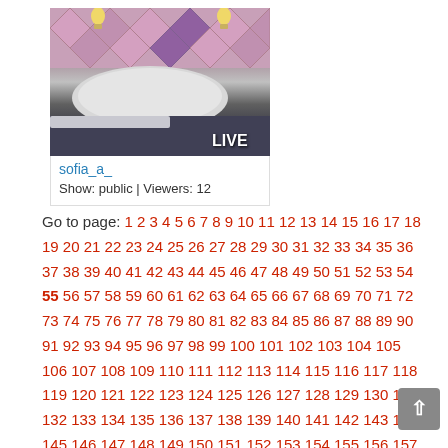[Figure (photo): Live webcam thumbnail showing a bedroom with quilted diamond-pattern headboard, pillow, dark bedding, and two warm light bulbs. 'LIVE' badge in bottom-right corner.]
sofia_a_
Show: public | Viewers: 12
Go to page: 1 2 3 4 5 6 7 8 9 10 11 12 13 14 15 16 17 18 19 20 21 22 23 24 25 26 27 28 29 30 31 32 33 34 35 36 37 38 39 40 41 42 43 44 45 46 47 48 49 50 51 52 53 54 55 56 57 58 59 60 61 62 63 64 65 66 67 68 69 70 71 72 73 74 75 76 77 78 79 80 81 82 83 84 85 86 87 88 89 90 91 92 93 94 95 96 97 98 99 100 101 102 103 104 105 106 107 108 109 110 111 112 113 114 115 116 117 118 119 120 121 122 123 124 125 126 127 128 129 130 131 132 133 134 135 136 137 138 139 140 141 142 143 144 145 146 147 148 149 150 151 152 153 154 155 156 157 158 159 160 161 162 163 164 165 166 167 168 169 170